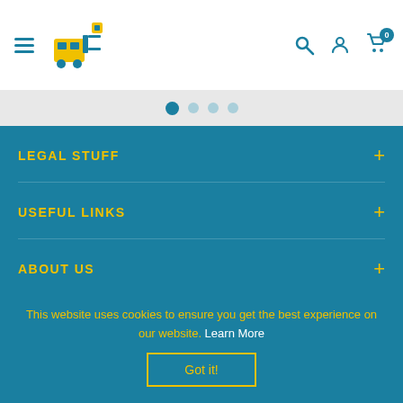Spare and Square — navigation header with logo, search, account, and cart icons
[Figure (other): Carousel pagination dots row: 4 dots indicating slide position]
LEGAL STUFF
USEFUL LINKS
ABOUT US
KEEP IN TOUCH
This website uses cookies to ensure you get the best experience on our website. Learn More
Got it!